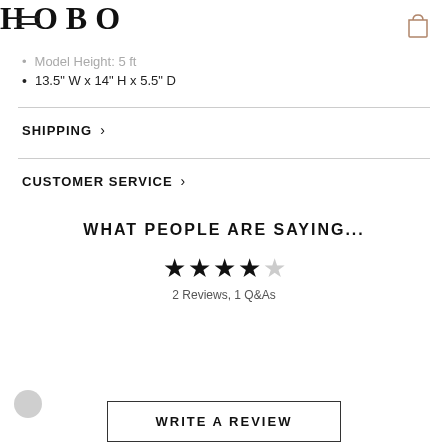HOBO
Model Height: 5 ft
13.5" W x 14" H x 5.5" D
SHIPPING
CUSTOMER SERVICE
WHAT PEOPLE ARE SAYING...
2 Reviews, 1 Q&As
WRITE A REVIEW